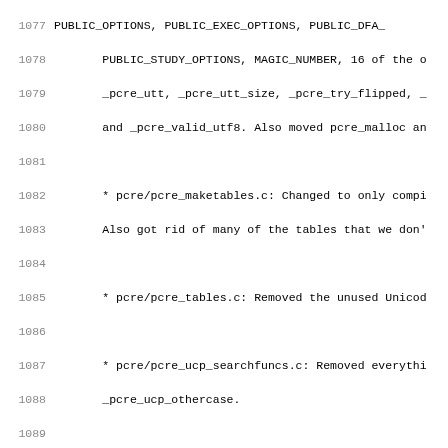1077  PUBLIC_OPTIONS, PUBLIC_EXEC_OPTIONS, PUBLIC_DFA_
1078        PUBLIC_STUDY_OPTIONS, MAGIC_NUMBER, 16 of the o
1079        _pcre_utt, _pcre_utt_size, _pcre_try_flipped,
1080        and _pcre_valid_utf8. Also moved pcre_malloc an
1081
1082        * pcre/pcre_maketables.c: Changed to only compi
1083        Also got rid of many of the tables that we don'
1084
1085        * pcre/pcre_tables.c: Removed the unused Unicod
1086
1087        * pcre/pcre_ucp_searchfuncs.c: Removed everythi
1088        _pcre_ucp_othercase.
1089
1090        * pcre/pcre_xclass.c: (_pcre_xclass): Removed u
1091        for classes based on Unicode properties.
1092
1093        * wtf/FastMallocPCRE.cpp: Removed unused bits.
1094        to eliminate this completely, but we need the r
1095        code to be C++ first.
1096
1097        * pcre/pcre_fullinfo.c:
1098        * pcre/pcre_get.c:
1099        * pcre/ucp.h:
1100        Files that are no longer needed. I didn't remov
1101        check-in, because I didn't want to modify all t
1102
1103 2007-11-03  Maciej Stachowiak  <mjs@apple.com>
1104
1105        Reviewed by Sam.
1106
1107        - remove NaN check from JSImmediate::fromDouble
1108
1109        That would be the first line below.